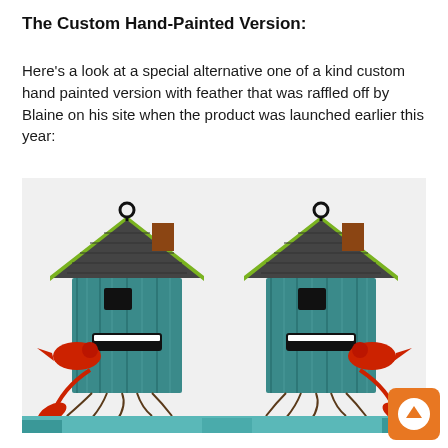The Custom Hand-Painted Version:
Here's a look at a special alternative one of a kind custom hand painted version with feather that was raffled off by Blaine on his site when the product was launched earlier this year:
[Figure (photo): Two views of a custom hand-painted decorative birdhouse ornament with teal/blue weathered wood finish, dark grey shingled roof with green trim, red cardinal birds perched on branch-like roots, and a black hanging loop on top. The birdhouse has an anthropomorphic face with white teeth visible in an open mouth.]